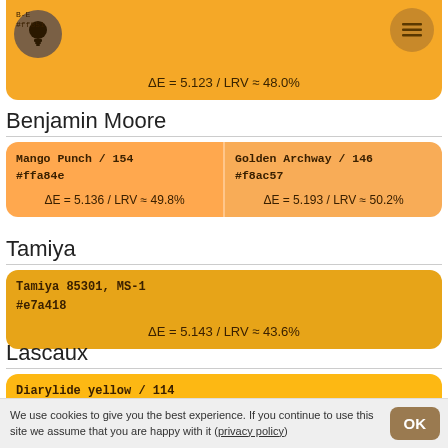[Figure (infographic): Top partial color swatch card with amber/orange background (#f5851 area), showing a bulb icon circle, hex label B-E #ff851, menu icon, and delta values ΔE = 5.123 / LRV ≈ 48.0%]
Benjamin Moore
[Figure (infographic): Two-column color swatch card. Left: Mango Punch / 154, #ffa84e, ΔE = 5.136 / LRV ≈ 49.8%. Right: Golden Archway / 146, #f8ac57, ΔE = 5.193 / LRV ≈ 50.2%.]
Tamiya
[Figure (infographic): Single color swatch card with dark amber background. Tamiya 85301, MS-1, #e7a418, ΔE = 5.143 / LRV ≈ 43.6%]
Lascaux
[Figure (infographic): Partial color swatch card with golden amber background. Diarylide yellow / 114, #fdb813, ΔE = 5.145 / LRV ≈ 55.2% (partially visible)]
We use cookies to give you the best experience. If you continue to use this site we assume that you are happy with it (privacy policy)